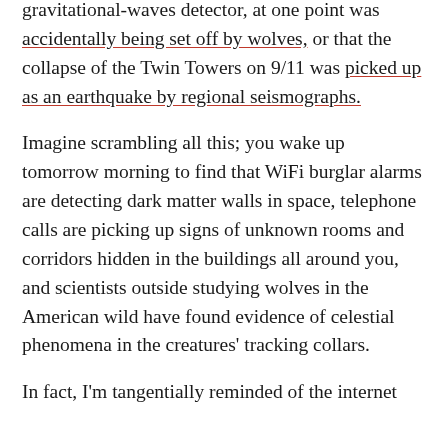gravitational-waves detector, at one point was accidentally being set off by wolves, or that the collapse of the Twin Towers on 9/11 was picked up as an earthquake by regional seismographs.
Imagine scrambling all this; you wake up tomorrow morning to find that WiFi burglar alarms are detecting dark matter walls in space, telephone calls are picking up signs of unknown rooms and corridors hidden in the buildings all around you, and scientists outside studying wolves in the American wild have found evidence of celestial phenomena in the creatures' tracking collars.
In fact, I'm tangentially reminded of the internet